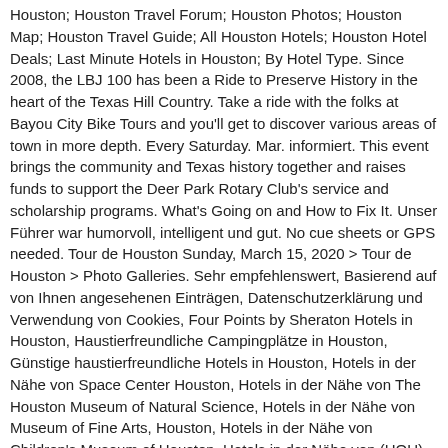Houston; Houston Travel Forum; Houston Photos; Houston Map; Houston Travel Guide; All Houston Hotels; Houston Hotel Deals; Last Minute Hotels in Houston; By Hotel Type. Since 2008, the LBJ 100 has been a Ride to Preserve History in the heart of the Texas Hill Country. Take a ride with the folks at Bayou City Bike Tours and you'll get to discover various areas of town in more depth. Every Saturday. Mar. informiert. This event brings the community and Texas history together and raises funds to support the Deer Park Rotary Club's service and scholarship programs. What's Going on and How to Fix It. Unser Führer war humorvoll, intelligent und gut. No cue sheets or GPS needed. Tour de Houston Sunday, March 15, 2020 > Tour de Houston > Photo Galleries. Sehr empfehlenswert, Basierend auf von Ihnen angesehenen Einträgen, Datenschutzerklärung und Verwendung von Cookies, Four Points by Sheraton Hotels in Houston, Haustierfreundliche Campingplätze in Houston, Günstige haustierfreundliche Hotels in Houston, Hotels in der Nähe von Space Center Houston, Hotels in der Nähe von The Houston Museum of Natural Science, Hotels in der Nähe von Museum of Fine Arts, Houston, Hotels in der Nähe von Children's Museum of Houston, Hotels in der Nähe von (HOU) Flughafen Hobby, Hotels in der Nähe von (IAH) Interkontinentalflughafen Houston, Fallschirmsegeln & Paragliding